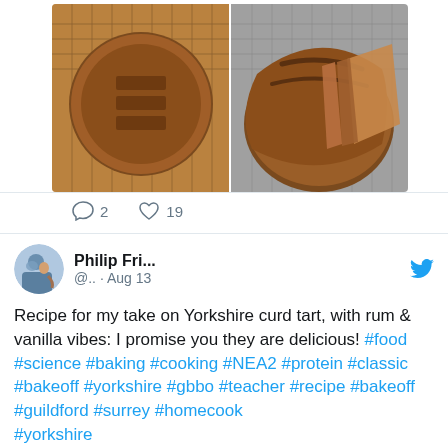[Figure (photo): Two bread loaf photos side by side on cooling racks, overhead view showing scored tops]
2   19 (comment and like counts)
[Figure (photo): Circular avatar showing person baking]
Philip Fri... @.. · Aug 13
Recipe for my take on Yorkshire curd tart, with rum & vanilla vibes: I promise you they are delicious! #food #science #baking #cooking #NEA2 #protein #classic #bakeoff #yorkshire #gbbo #teacher #recipe #bakeoff #guildford #surrey #homecook #yorkshire